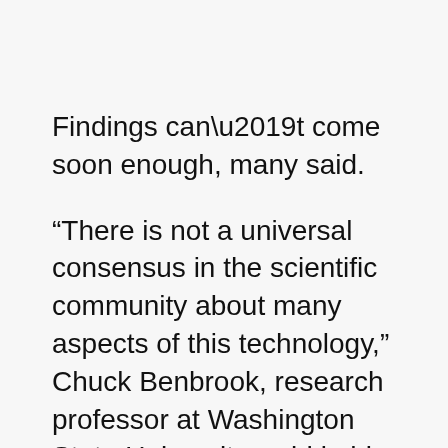Findings can’t come soon enough, many said.
“There is not a universal consensus in the scientific community about many aspects of this technology,” Chuck Benbrook, research professor at Washington State University, said in his address to the study group.
Benbrook said a lack of confidence in the safety of consuming the specialty crops due in part to a U.S. regulatory system that